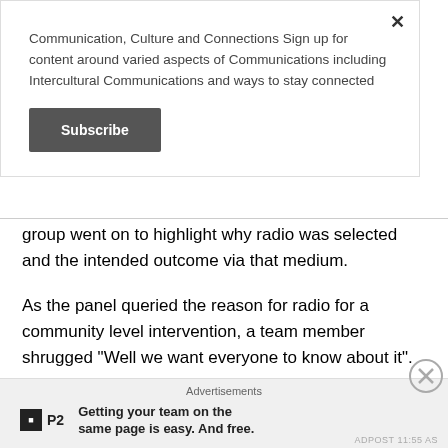Communication, Culture and Connections Sign up for content around varied aspects of Communications including Intercultural Communications and ways to stay connected
Subscribe
group went on to highlight why radio was selected and the intended outcome via that medium.
As the panel queried the reason for radio for a community level intervention, a team member shrugged “Well we want everyone to know about it”. A series of questions, comments and other suggestions later, it was revealed that radio would not have been the ideal medium for th
Advertisements
[Figure (screenshot): P2 advertisement: logo box with P2 text, tagline reading 'Getting your team on the same page is easy. And free.']